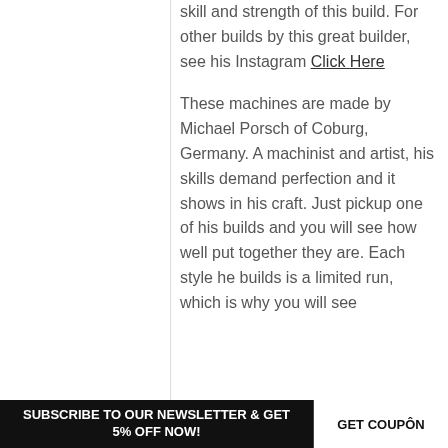skill and strength of this build. For other builds by this great builder, see his Instagram Click Here
These machines are made by Michael Porsch of Coburg, Germany. A machinist and artist, his skills demand perfection and it shows in his craft. Just pickup one of his builds and you will see how well put together they are. Each style he builds is a limited run, which is why you will see
SUBSCRIBE TO OUR NEWSLETTER & GET 5% OFF NOW!  GET COUPON